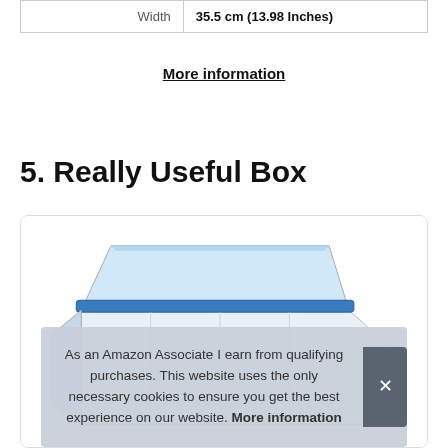| Width | 35.5 cm (13.98 Inches) |
More information
5. Really Useful Box
[Figure (photo): A clear plastic storage box with a blue lid/clip, shown open at an angle, product photo on white background.]
As an Amazon Associate I earn from qualifying purchases. This website uses the only necessary cookies to ensure you get the best experience on our website. More information